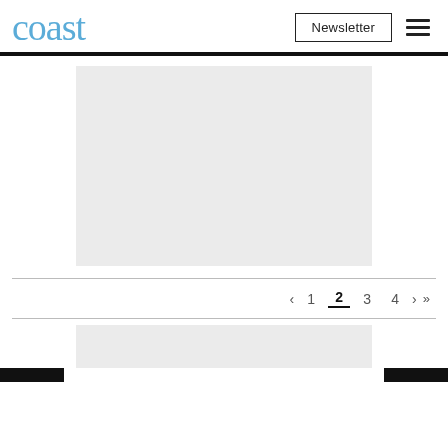coast
[Figure (other): Large light grey placeholder image block in the center of the page]
Pagination: < 1 2 3 4 > >>
[Figure (other): Small light grey placeholder image block at the bottom of the page]